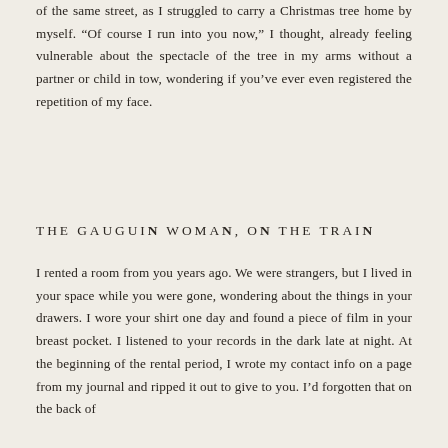of the same street, as I struggled to carry a Christmas tree home by myself. “Of course I run into you now,” I thought, already feeling vulnerable about the spectacle of the tree in my arms without a partner or child in tow, wondering if you’ve ever even registered the repetition of my face.
THE GAUGUIN WOMAN, ON THE TRAIN
I rented a room from you years ago. We were strangers, but I lived in your space while you were gone, wondering about the things in your drawers. I wore your shirt one day and found a piece of film in your breast pocket. I listened to your records in the dark late at night. At the beginning of the rental period, I wrote my contact info on a page from my journal and ripped it out to give to you. I’d forgotten that on the back of the page was—